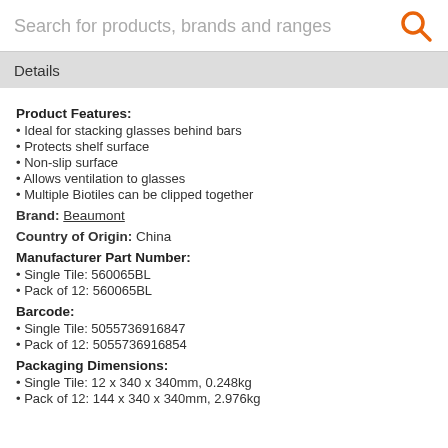Search for products, brands and ranges
Details
Product Features:
Ideal for stacking glasses behind bars
Protects shelf surface
Non-slip surface
Allows ventilation to glasses
Multiple Biotiles can be clipped together
Brand: Beaumont
Country of Origin: China
Manufacturer Part Number:
Single Tile: 560065BL
Pack of 12: 560065BL
Barcode:
Single Tile: 5055736916847
Pack of 12: 5055736916854
Packaging Dimensions:
Single Tile: 12 x 340 x 340mm, 0.248kg
Pack of 12: 144 x 340 x 340mm, 2.976kg